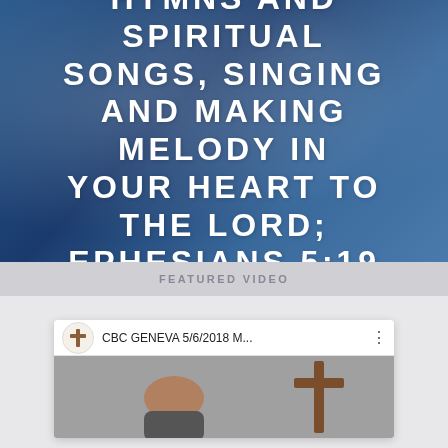[Figure (illustration): Blue painted background with bold white uppercase text displaying a Bible verse: HYMNS AND SPIRITUAL SONGS, SINGING AND MAKING MELODY IN YOUR HEART TO THE LORD; EPHESIANS 5:19]
FEATURED VIDEO
[Figure (screenshot): YouTube video thumbnail showing CBC GENEVA 5/6/2018 M... with a cross icon avatar, a person (preacher) visible at a podium and a wooden cross in the background]